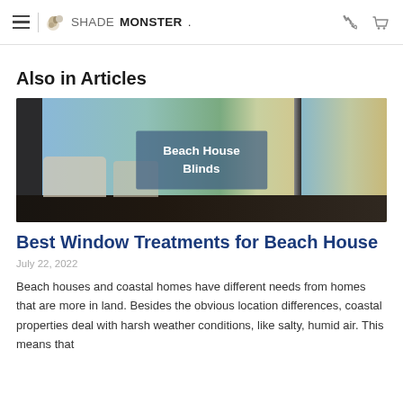SHADEMONSTER.
Also in Articles
[Figure (photo): Interior photo of a beach house with white roller blinds on large floor-to-ceiling windows overlooking the ocean, with an overlay label reading 'Beach House Blinds']
Best Window Treatments for Beach House
July 22, 2022
Beach houses and coastal homes have different needs from homes that are more in land. Besides the obvious location differences, coastal properties deal with harsh weather conditions, like salty, humid air. This means that